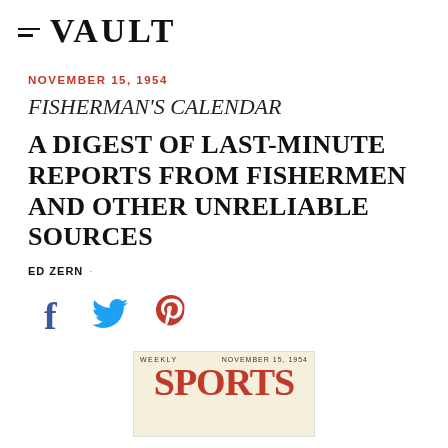≡ VAULT
NOVEMBER 15, 1954
FISHERMAN'S CALENDAR
A DIGEST OF LAST-MINUTE REPORTS FROM FISHERMEN AND OTHER UNRELIABLE SOURCES
ED ZERN ·
[Figure (other): Social share icons: Facebook (f), Twitter (bird), Pinterest (P)]
[Figure (photo): Partial Sports Illustrated magazine cover dated November 15, 1954, showing 'WEEKLY' and 'NOVEMBER 15, 1954' text with red 'SPORTS' lettering partially visible]